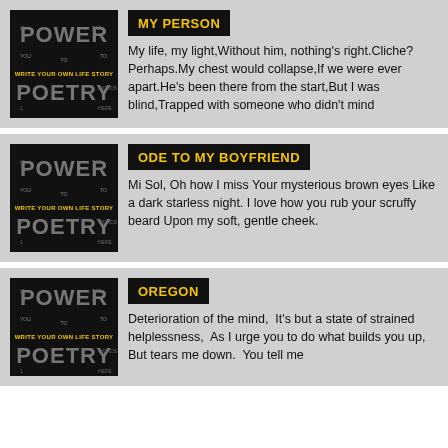[Figure (logo): Power Poetry logo - black background with stylized text reading POWER and POETRY in gray/white, with 'WRITE YOUR OWN LIFE STORY' in yellow]
MY PERSON
My life, my light,Without him, nothing's right.Cliche? Perhaps.My chest would collapse,If we were ever apart.He's been there from the start,But I was blind,Trapped with someone who didn't mind
[Figure (logo): Power Poetry logo - black background with stylized text reading POWER and POETRY in gray/white, with 'WRITE YOUR OWN LIFE STORY' in yellow]
ODE TO MY BOYFRIEND
Mi Sol, Oh how I miss Your mysterious brown eyes Like a dark starless night. I love how you rub your scruffy beard Upon my soft, gentle cheek.
[Figure (logo): Power Poetry logo - black background with stylized text reading POWER and POETRY in gray/white, with 'WRITE YOUR OWN LIFE STORY' in yellow]
OREGON
Deterioration of the mind,  It's but a state of strained helplessness,  As I urge you to do what builds you up, But tears me down.  You tell me